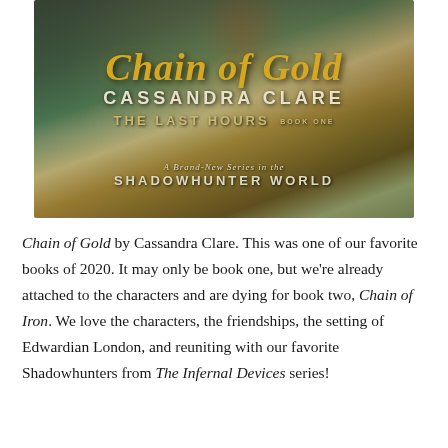[Figure (illustration): Book cover of 'Chain of Gold' by Cassandra Clare. Shows a fantasy figure with red hair holding a sword against a dark green and gold background. Text reads: Chain of Gold, Cassandra Clare, The Last Hours Book One, A Brand-New Series in the Shadowhunter World.]
Chain of Gold by Cassandra Clare. This was one of our favorite books of 2020. It may only be book one, but we're already attached to the characters and are dying for book two, Chain of Iron. We love the characters, the friendships, the setting of Edwardian London, and reuniting with our favorite Shadowhunters from The Infernal Devices series!